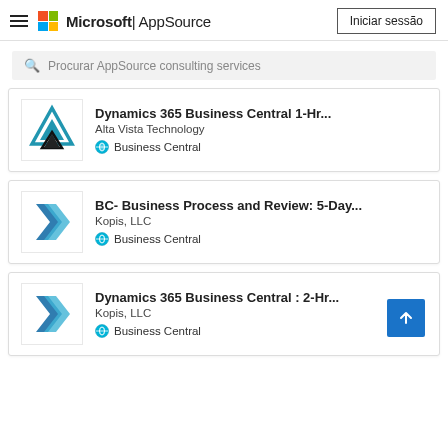Microsoft | AppSource   Iniciar sessão
Procurar AppSource consulting services
Dynamics 365 Business Central 1-Hr...
Alta Vista Technology
Business Central
BC- Business Process and Review: 5-Day...
Kopis, LLC
Business Central
Dynamics 365 Business Central : 2-Hr...
Kopis, LLC
Business Central